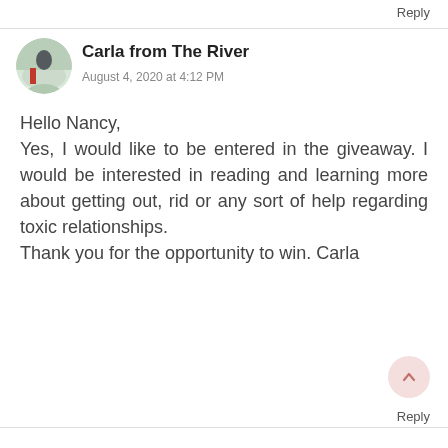Reply
[Figure (photo): Circular avatar photo of Carla from The River, showing a person outdoors in a winter/snowy scene]
Carla from The River
August 4, 2020 at 4:12 PM
Hello Nancy,
Yes, I would like to be entered in the giveaway. I would be interested in reading and learning more about getting out, rid or any sort of help regarding toxic relationships.
Thank you for the opportunity to win. Carla
Reply